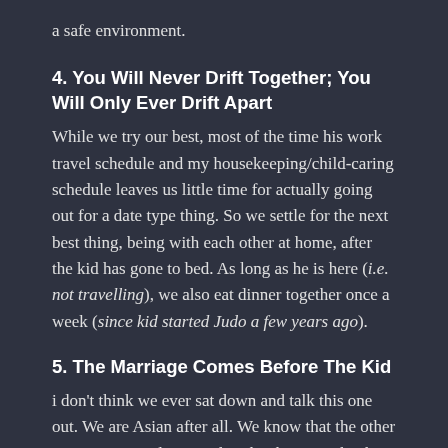a safe environment.
4. You Will Never Drift Together; You Will Only Ever Drift Apart
While we try our best, most of the time his work travel schedule and my housekeeping/child-caring schedule leaves us little time for actually going out for a date type thing. So we settle for the next best thing, being with each other at home, after the kid has gone to bed. As long as he is here (i.e. not travelling), we also eat dinner together once a week (since kid started Judo a few years ago).
5. The Marriage Comes Before The Kid
i don't think we ever sat down and talk this one out. We are Asian after all. We know that the other is important and we need each other to make this family work. So we take care of each other in little ways. Sometimes i do feel